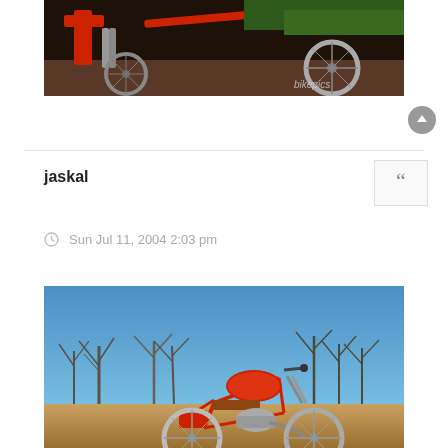[Figure (photo): Red motorcycle front wheel and fork area with grass and red bodywork visible, with 'bikepics' watermark in bottom right corner]
jaskal
[Figure (other): Quote button icon with double quotation marks]
Sun Jul 11, 2004 2:03 pm
[Figure (photo): Red vintage motorcycle parked outdoors on sandy/dirt ground with bare trees and blue sky in the background]